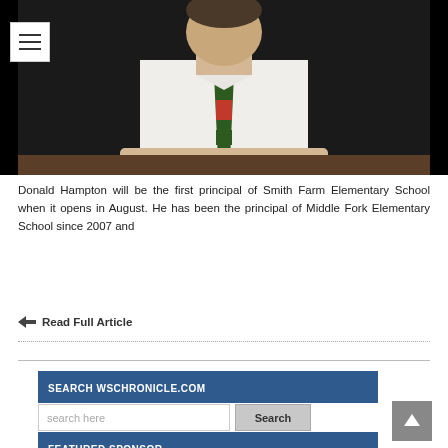[Figure (photo): Man in white dress shirt and green/red tie seated at a desk with hands folded, against a dark background. Navigation menu icon overlay in upper left.]
Donald Hampton will be the first principal of Smith Farm Elementary School when it opens in August. He has been the principal of Middle Fork Elementary School since 2007 and
Read Full Article
SEARCH WSCHRONICLE.COM
FEATURED SPONSOR